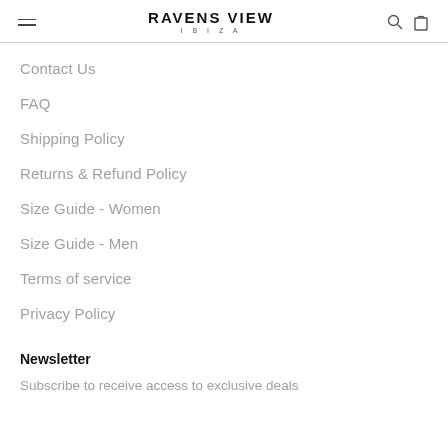RAVENS VIEW IBIZA
Contact Us
FAQ
Shipping Policy
Returns & Refund Policy
Size Guide - Women
Size Guide - Men
Terms of service
Privacy Policy
Newsletter
Subscribe to receive access to exclusive deals